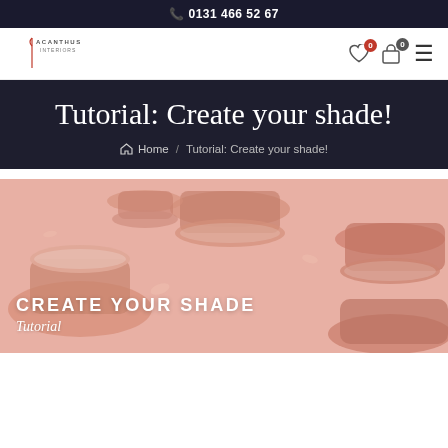📞 0131 466 52 67
[Figure (logo): Acanthus Interiors logo with stylized A and vertical line]
Tutorial: Create your shade!
Home / Tutorial: Create your shade!
[Figure (illustration): Pink background with floating lamp shades illustration. Text overlay: CREATE YOUR SHADE Tutorial]